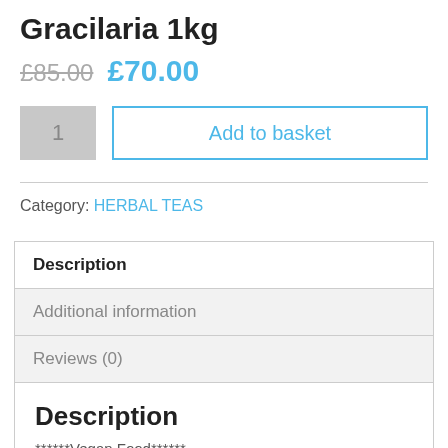Gracilaria 1kg
£85.00  £70.00
1  Add to basket
Category: HERBAL TEAS
Description
Additional information
Reviews (0)
Description
******Vegan Food******